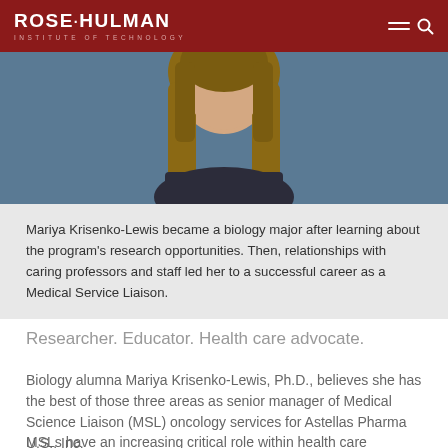ROSE·HULMAN INSTITUTE OF TECHNOLOGY
[Figure (photo): Portrait photo of Mariya Krisenko-Lewis, a woman with long brown hair, wearing a blazer, photographed against a blue background]
Mariya Krisenko-Lewis became a biology major after learning about the program's research opportunities. Then, relationships with caring professors and staff led her to a successful career as a Medical Service Liaison.
Researcher. Educator. Health care advocate.
Biology alumna Mariya Krisenko-Lewis, Ph.D., believes she has the best of those three areas as senior manager of Medical Science Liaison (MSL) oncology services for Astellas Pharma U.S., Inc.
MSLs have an increasing critical role within health care companies. With advanced training and academic